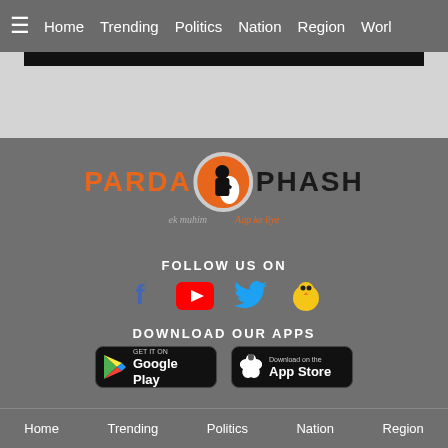≡ Home  Trending  Politics  Nation  Region  Worl
[Figure (screenshot): Dark banner/advertisement bar at top of page content area]
[Figure (logo): Parda Phash logo with orange circle icon containing silhouette figure, text reads PARDA PHASH with taglines ek muhim and Aap ke liye]
FOLLOW US ON
[Figure (illustration): Social media icons: Facebook (blue f), YouTube (red play button), Twitter (blue bird), and a yellow chick icon]
DOWNLOAD OUR APPS
[Figure (illustration): GET IT ON Google Play button (black rounded rectangle) and Download on the App Store button (black rounded rectangle)]
Home  Trending  Politics  Nation  Region